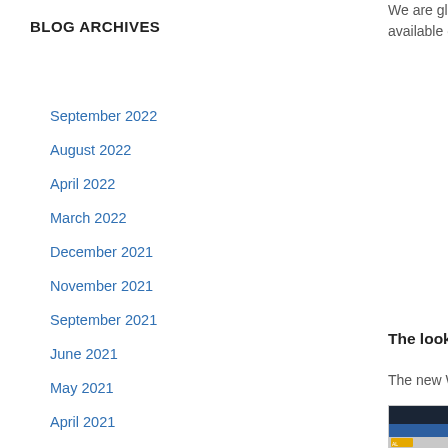BLOG ARCHIVES
We are glad to introduce the… available on every account p…
September 2022
August 2022
April 2022
March 2022
December 2021
November 2021
September 2021
June 2021
May 2021
April 2021
March 2021
February 2021
December 2020
November 2020
October 2020
The look
The new Wish List widget all…
[Figure (screenshot): Screenshot showing a dark blue and orange widget UI element]